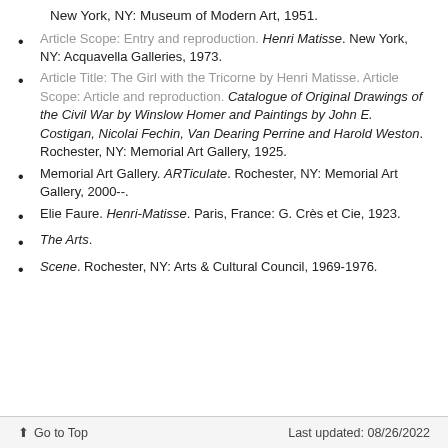New York, NY: Museum of Modern Art, 1951.
Article Scope: Entry and reproduction. Henri Matisse. New York, NY: Acquavella Galleries, 1973.
Article Title: The Girl with the Tricorne by Henri Matisse. Article Scope: Article and reproduction. Catalogue of Original Drawings of the Civil War by Winslow Homer and Paintings by John E. Costigan, Nicolai Fechin, Van Dearing Perrine and Harold Weston. Rochester, NY: Memorial Art Gallery, 1925.
Memorial Art Gallery. ARTiculate. Rochester, NY: Memorial Art Gallery, 2000--.
Elie Faure. Henri-Matisse. Paris, France: G. Crès et Cie, 1923.
The Arts.
Scene. Rochester, NY: Arts & Cultural Council, 1969-1976.
Go to Top   Last updated: 08/26/2022